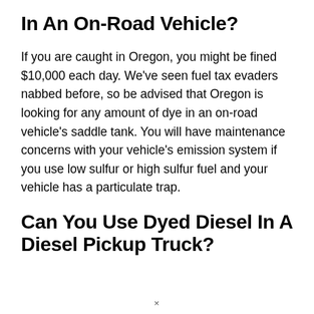In An On-Road Vehicle?
If you are caught in Oregon, you might be fined $10,000 each day. We've seen fuel tax evaders nabbed before, so be advised that Oregon is looking for any amount of dye in an on-road vehicle's saddle tank. You will have maintenance concerns with your vehicle's emission system if you use low sulfur or high sulfur fuel and your vehicle has a particulate trap.
Can You Use Dyed Diesel In A Diesel Pickup Truck?
×